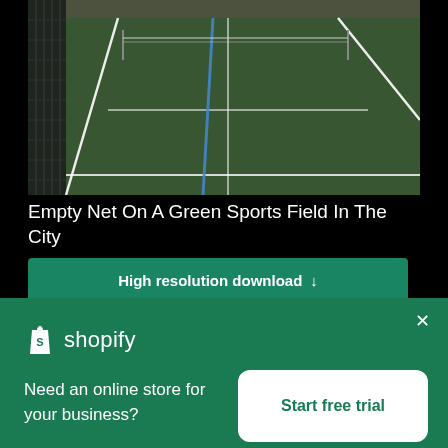[Figure (photo): Aerial/perspective view of an empty green sports field (padel or tennis court) with white and blue court lines, metal fence on the left, poles visible, urban setting in background.]
Empty Net On A Green Sports Field In The City
High resolution download ↓
[Figure (logo): Shopify logo: white shopping bag icon with 'S' and white text 'shopify']
Need an online store for your business?
Start free trial